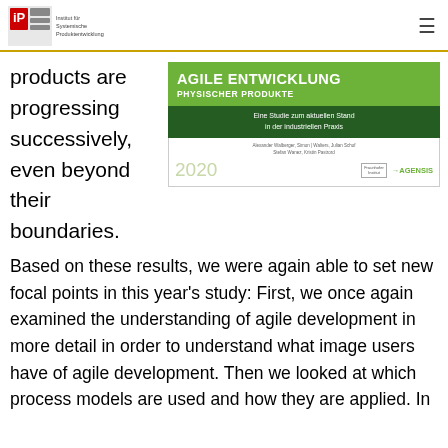IP Institut für Produktentwicklung — menu icon
products are progressing successively, even beyond their boundaries.
[Figure (illustration): Book cover of 'Agile Entwicklung Physischer Produkte' — Eine Studie zum aktuellen Stand in der industriellen Praxis. Authors: Alexander Walberger, Simon Walters, Julian Schof, Stefan Wanez, Kristin Positard. Year: 2020. Logos: Fraunhofer, AGENSIS.]
Based on these results, we were again able to set new focal points in this year's study: First, we once again examined the understanding of agile development in more detail in order to understand what image users have of agile development. Then we looked at which process models are used and how they are applied. In